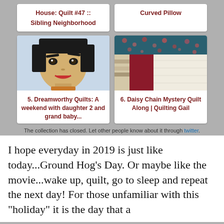House: Quilt #47 :: Sibling Neighborhood
Curved Pillow
[Figure (photo): Quilt art depicting Mulan character face made from fabric pieces]
5. Dreamworthy Quilts: A weekend with daughter 2 and grand baby...
[Figure (photo): Fabric swatches showing floral blue fabric and red/cream strips]
6. Daisy Chain Mystery Quilt Along | Quilting Gail
The collection has closed. Let other people know about it through twitter.
I hope everyday in 2019 is just like today...Ground Hog's Day.  Or maybe like the movie...wake up, quilt, go to sleep and repeat the next day!  For those unfamiliar with this "holiday" it is the day that a